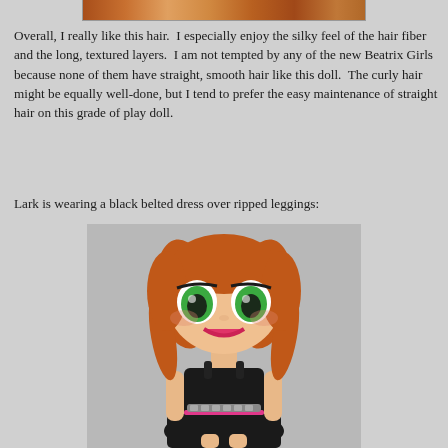[Figure (photo): Partial view of a doll with orange/red hair visible at the top of the page, cropped image strip]
Overall, I really like this hair.  I especially enjoy the silky feel of the hair fiber and the long, textured layers.  I am not tempted by any of the new Beatrix Girls because none of them have straight, smooth hair like this doll.  The curly hair might be equally well-done, but I tend to prefer the easy maintenance of straight hair on this grade of play doll.
Lark is wearing a black belted dress over ripped leggings:
[Figure (photo): A Beatrix Girls doll named Lark with large green eyes, red/orange hair in pigtails, wearing a black belted dress over ripped leggings, with a pink belt detail]